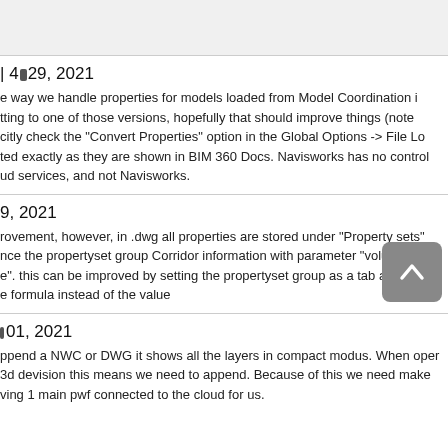| 4▪ 29, 2021
e way we handle properties for models loaded from Model Coordination i
tting to one of those versions, hopefully that should improve things (note
citly check the "Convert Properties" option in the Global Options -> File Lo
ted exactly as they are shown in BIM 360 Docs. Navisworks has no control
ud services, and not Navisworks.
9, 2021
rovement, however, in .dwg all properties are stored under "Property sets"
nce the propertyset group Corridor information with parameter "volume" v
e". this can be improved by setting the propertyset group as a tab and not a
e formula instead of the value
▪ 01, 2021
ppend a NWC or DWG it shows all the layers in compact modus. When oper
3d devision this means we need to append. Because of this we need make
ving 1 main pwf connected to the cloud for us.